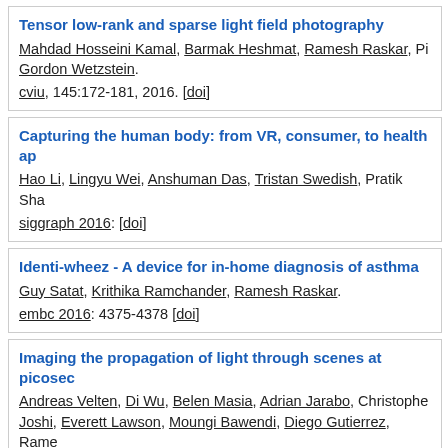Tensor low-rank and sparse light field photography. Mahdad Hosseini Kamal, Barmak Heshmat, Ramesh Raskar, Pi Gordon Wetzstein. cviu, 145:172-181, 2016. [doi]
Capturing the human body: from VR, consumer, to health ap. Hao Li, Lingyu Wei, Anshuman Das, Tristan Swedish, Pratik Sha. siggraph 2016: [doi]
Identi-wheez - A device for in-home diagnosis of asthma. Guy Satat, Krithika Ramchander, Ramesh Raskar. embc 2016: 4375-4378 [doi]
Imaging the propagation of light through scenes at picosec. Andreas Velten, Di Wu, Belen Masia, Adrian Jarabo, Christophe Joshi, Everett Lawson, Moungi Bawendi, Diego Gutierrez, Rame. CACM, 59(9):79-86, 2016. [doi]